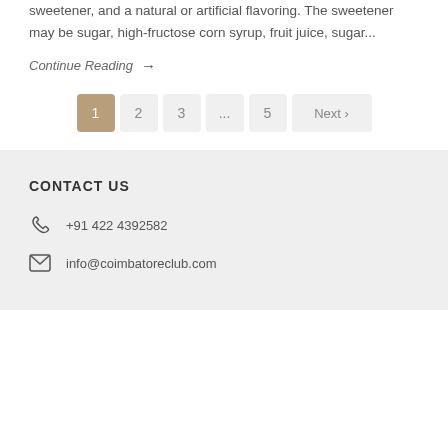sweetener, and a natural or artificial flavoring. The sweetener may be sugar, high-fructose corn syrup, fruit juice, sugar...
Continue Reading →
1 2 3 ... 5 Next ›
CONTACT US
+91 422 4392582
info@coimbatoreclub.com